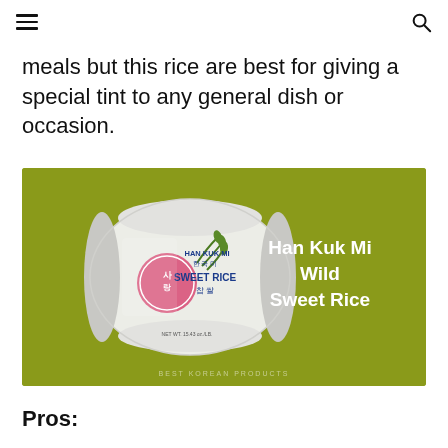≡  🔍
meals but this rice are best for giving a special tint to any general dish or occasion.
[Figure (photo): Product image of Han Kuk Mi Wild Sweet Rice on an olive/yellow-green background. A white bag of sweet rice with Korean text and branding is shown on the left side, with bold white text 'Han Kuk Mi Wild Sweet Rice' on the right side. A faint watermark reads 'BEST KOREAN PRODUCTS' at the bottom center.]
Pros: